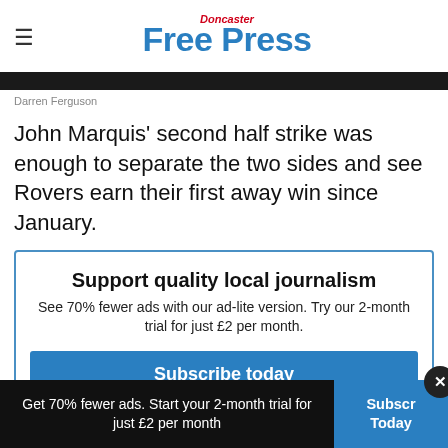Doncaster Free Press
[Figure (photo): Dark photo strip - Darren Ferguson image]
Darren Ferguson
John Marquis' second half strike was enough to separate the two sides and see Rovers earn their first away win since January.
Support quality local journalism
See 70% fewer ads with our ad-lite version. Try our 2-month trial for just £2 per month.
Subscribe today
Get 70% fewer ads. Start your 2-month trial for just £2 per month
Subscribe Today